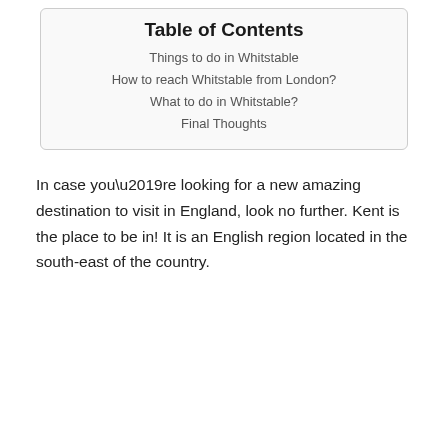Table of Contents
Things to do in Whitstable
How to reach Whitstable from London?
What to do in Whitstable?
Final Thoughts
In case you’re looking for a new amazing destination to visit in England, look no further. Kent is the place to be in! It is an English region located in the south-east of the country.